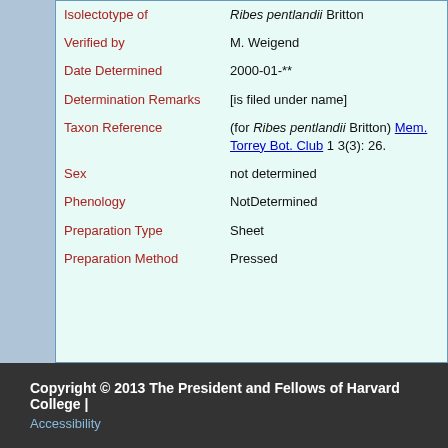| Field | Value |
| --- | --- |
| Isolectotype of | Ribes pentlandii Britton |
| Verified by | M. Weigend |
| Date Determined | 2000-01-** |
| Determination Remarks | [is filed under name] |
| Taxon Reference | (for Ribes pentlandii Britton) Mem. Torrey Bot. Club 1 3(3): 26. |
| Sex | not determined |
| Phenology | NotDetermined |
| Preparation Type | Sheet |
| Preparation Method | Pressed |
Copyright © 2013 The President and Fellows of Harvard College | Accessibility